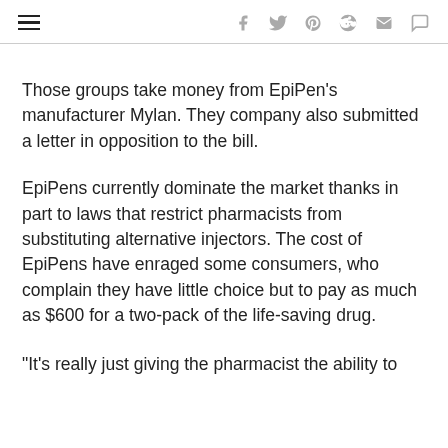Navigation and social sharing icons
Those groups take money from EpiPen's manufacturer Mylan. They company also submitted a letter in opposition to the bill.
EpiPens currently dominate the market thanks in part to laws that restrict pharmacists from substituting alternative injectors. The cost of EpiPens have enraged some consumers, who complain they have little choice but to pay as much as $600 for a two-pack of the life-saving drug.
"It's really just giving the pharmacist the ability to